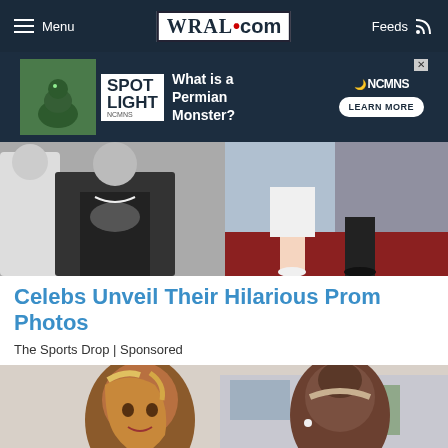WRAL.com — Menu | Feeds
[Figure (screenshot): Spotlight NCMNS advertisement banner — What is a Permian Monster? Learn More]
[Figure (photo): Split image: left side black and white photo of woman in floral dress, right side color photo of woman in white dress on red carpet]
Celebs Unveeil Their Hilarious Prom Photos
The Sports Drop | Sponsored
[Figure (photo): Two young women talking — one facing camera with highlighted hair, one with back to camera wearing headband]